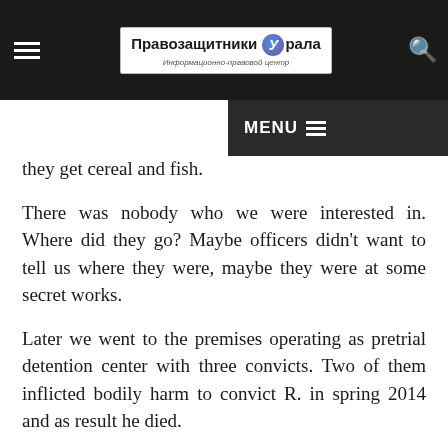Правозащитники Урала — Информационно-правовой центр
ng when they get cereal and fish.
There was nobody who we were interested in. Where did they go? Maybe officers didn't want to tell us where they were, maybe they were at some secret works.
Later we went to the premises operating as pretrial detention center with three convicts. Two of them inflicted bodily harm to convict R. in spring 2014 and as result he died.
As far as we know inmates could bare such humiliations and tortures from R. and were forced to commit a crime.
Convict Ruslan Tedeyev didn't complain except troubles with